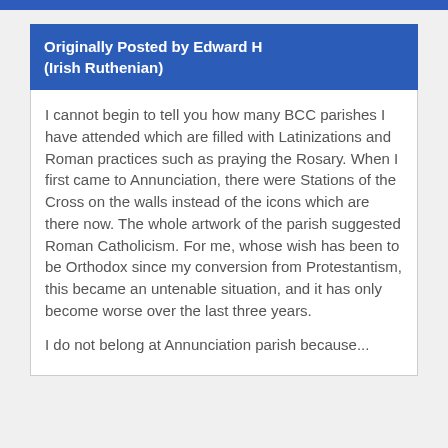Originally Posted by Edward H (Irish Ruthenian)
I cannot begin to tell you how many BCC parishes I have attended which are filled with Latinizations and Roman practices such as praying the Rosary. When I first came to Annunciation, there were Stations of the Cross on the walls instead of the icons which are there now. The whole artwork of the parish suggested Roman Catholicism. For me, whose wish has been to be Orthodox since my conversion from Protestantism, this became an untenable situation, and it has only become worse over the last three years.
I do not belong at Annunciation parish because...